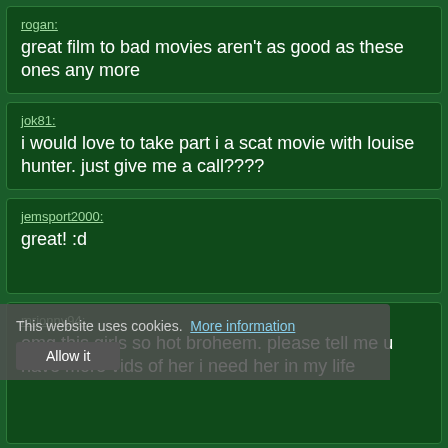rogan: great film to bad movies aren't as good as these ones any more
jok81: i would love to take part i a scat movie with louise hunter. just give me a call????
jemsport2000: great! :d
This website uses cookies. More information / Allow it
mrjonny94: omg this girls so hot broheem. please tell me u have more vids of her i need her in my life